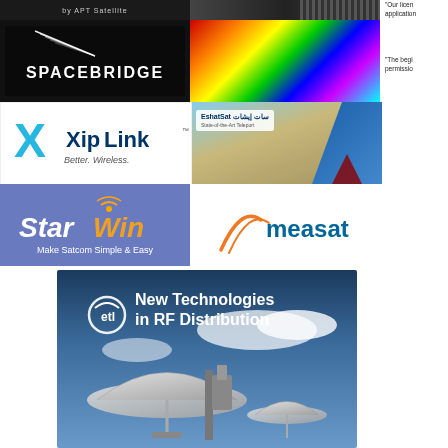[Figure (logo): APT Satellite logo on dark background]
[Figure (photo): Dark device/hardware image]
[Figure (logo): Spacebridge logo on black background with streaks]
[Figure (photo): Colorful fiber optics light burst]
[Figure (logo): XipLink - Better. Wireless. logo]
[Figure (logo): EshatSat State-of-the-Art Teleport logo with aerial photo]
[Figure (logo): StarWin - Make Satcom Simple & Easy logo on blue background]
[Figure (logo): Measat logo on white background]
“Our licen… application…
“The begi… permissio…
[Figure (photo): ETL - New Technologies in RF Distribution advertisement with satellite dishes]